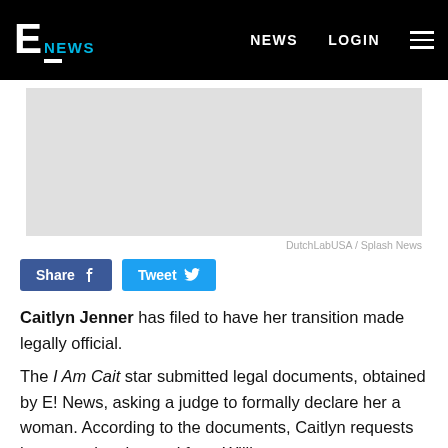E! NEWS  NEWS  LOGIN
[Figure (photo): Gray placeholder image area for article photo]
DutchLabUSA / Splash News
Share  Tweet
Caitlyn Jenner has filed to have her transition made legally official.
The I Am Cait star submitted legal documents, obtained by E! News, asking a judge to formally declare her a woman. According to the documents, Caitlyn requests her name be changed from William